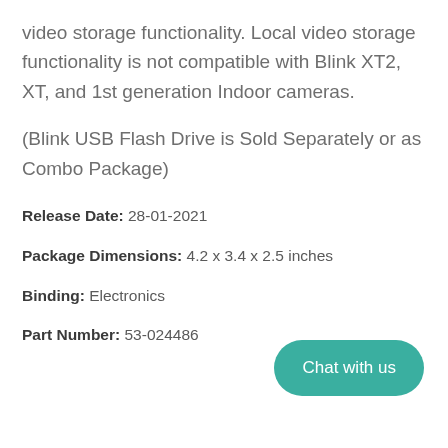video storage functionality. Local video storage functionality is not compatible with Blink XT2, XT, and 1st generation Indoor cameras.
(Blink USB Flash Drive is Sold Separately or as Combo Package)
Release Date: 28-01-2021
Package Dimensions: 4.2 x 3.4 x 2.5 inches
Binding: Electronics
Part Number: 53-024486
[Figure (other): Teal rounded rectangle button labeled 'Chat with us']